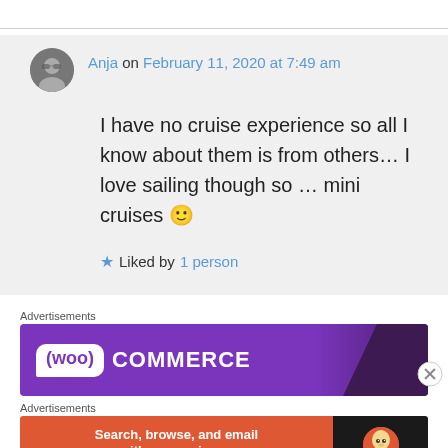Anja on February 11, 2020 at 7:49 am
I have no cruise experience so all I know about them is from others… I love sailing though so … mini cruises 🙂
Liked by 1 person
Advertisements
[Figure (logo): WooCommerce advertisement banner with purple background and WooCommerce logo in white]
Advertisements
[Figure (logo): DuckDuckGo advertisement: Search, browse, and email with more privacy. All in One Free App. Orange and black banner.]